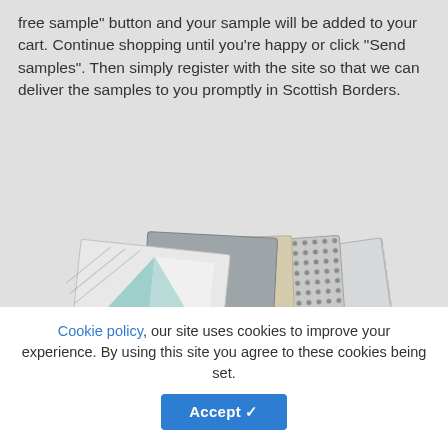free sample" button and your sample will be added to your cart. Continue shopping until you're happy or click "Send samples". Then simply register with the site so that we can deliver the samples to you promptly in Scottish Borders.
[Figure (photo): A collection of fabric swatches fanned out, including geometric pattern with triangles in yellow, mint, and grey; floral damask in grey; plain beige/linen; small circle pattern in grey; and plain light grey fabric.]
Cookie policy, our site uses cookies to improve your experience. By using this site you agree to these cookies being set.